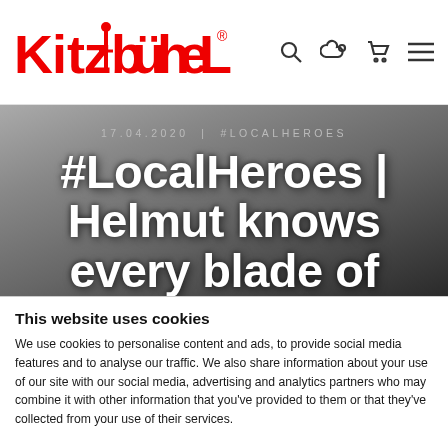Kitzbühel [logo with nav icons: search, weather, cart, menu]
17.04.2020 | #LOCALHEROES
#LocalHeroes | Helmut knows every blade of grass at the Kitzbühel-Schwarzsee-Reith golf course
This website uses cookies
We use cookies to personalise content and ads, to provide social media features and to analyse our traffic. We also share information about your use of our site with our social media, advertising and analytics partners who may combine it with other information that you've provided to them or that they've collected from your use of their services.